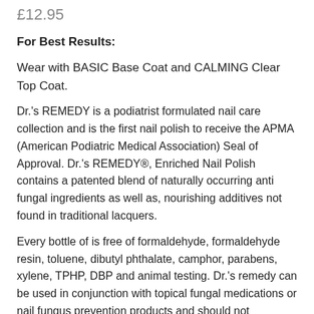£12.95
For Best Results:
Wear with BASIC Base Coat and CALMING Clear Top Coat.
Dr.'s REMEDY is a podiatrist formulated nail care collection and is the first nail polish to receive the APMA (American Podiatric Medical Association) Seal of Approval. Dr.'s REMEDY®, Enriched Nail Polish contains a patented blend of naturally occurring anti fungal ingredients as well as, nourishing additives not found in traditional lacquers.
Every bottle of is free of formaldehyde, formaldehyde resin, toluene, dibutyl phthalate, camphor, parabens, xylene, TPHP, DBP and animal testing. Dr.'s remedy can be used in conjunction with topical fungal medications or nail fungus prevention products and should not perpetuate the condition.  Dr.'s REMEDY can restore discoloured, weak brittle nails and help maintain healthy looking nails.
Dr.'s REMEDY appeals to a wide range of patients